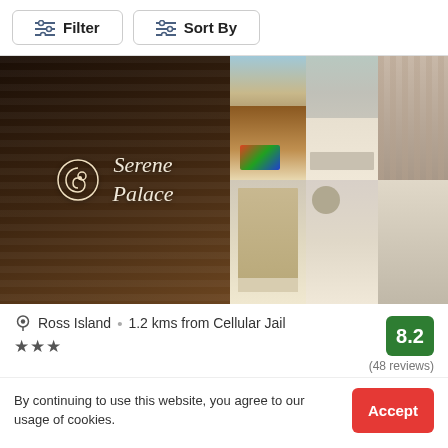Filter
Sort By
[Figure (photo): Hotel collage: main image shows Serene Palace logo on dark wood paneling, with three smaller interior photos showing rooms and decor]
Ross Island  •  1.2 kms from Cellular Jail
★★★
8.2
(48 reviews)
By continuing to use this website, you agree to our usage of cookies.
Accept